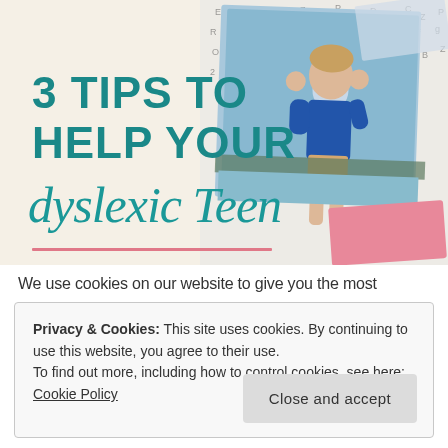[Figure (illustration): Hero banner image with cream/beige background showing text '3 TIPS TO HELP YOUR dyslexic Teen' in teal/dark teal colors. Right side shows a boy in a blue long-sleeve shirt standing against a wall covered in letters, with pink and blue card overlays. A pink decorative line appears at the bottom of the image area.]
We use cookies on our website to give you the most
Privacy & Cookies: This site uses cookies. By continuing to use this website, you agree to their use.
To find out more, including how to control cookies, see here:
Cookie Policy